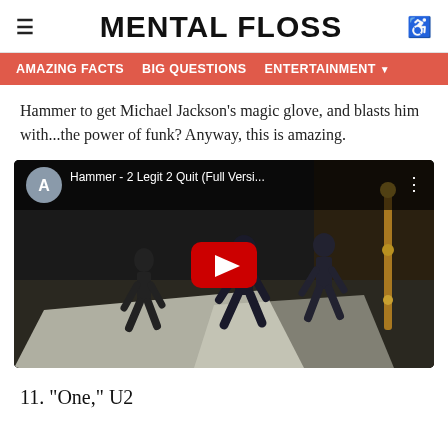MENTAL FLOSS
AMAZING FACTS   BIG QUESTIONS   ENTERTAINMENT
Hammer to get Michael Jackson’s magic glove, and blasts him with...the power of funk? Anyway, this is amazing.
[Figure (screenshot): YouTube video embed showing 'Hammer - 2 Legit 2 Quit (Full Versi...' with dancers visible in the thumbnail and a red YouTube play button in the center.]
11. "One," U2